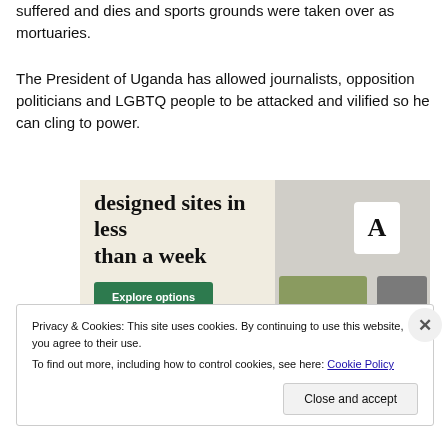suffered and dies and sports grounds were taken over as mortuaries.
The President of Uganda has allowed journalists, opposition politicians and LGBTQ people to be attacked and vilified so he can cling to power.
[Figure (screenshot): Advertisement showing 'designed sites in less than a week' with an Explore options button on a beige background, with website design mockup images on the right.]
Privacy & Cookies: This site uses cookies. By continuing to use this website, you agree to their use.
To find out more, including how to control cookies, see here: Cookie Policy
Close and accept